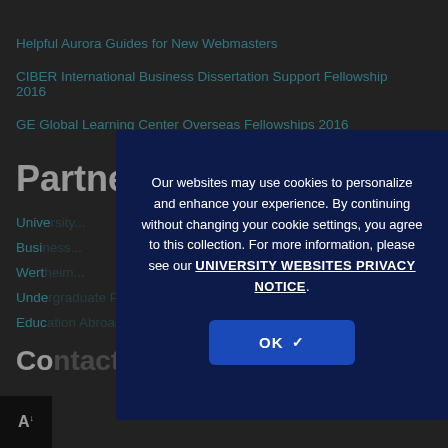Helpful Aurora Guides for New Webmasters
CIBER International Business Dissertation Support Fellowship 2016
GE Global Learning Center Overseas Fellowships 2016
Partners
University...
Business...
Wertheim...
Undergraduate Programs...
Education Abroad
Contact
Our websites may use cookies to personalize and enhance your experience. By continuing without changing your cookie settings, you agree to this collection. For more information, please see our UNIVERSITY WEBSITES PRIVACY NOTICE.
OK ✓